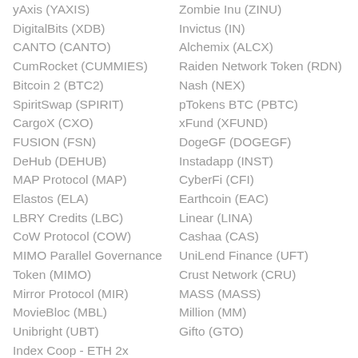yAxis (YAXIS)
DigitalBits (XDB)
CANTO (CANTO)
CumRocket (CUMMIES)
Bitcoin 2 (BTC2)
SpiritSwap (SPIRIT)
CargoX (CXO)
FUSION (FSN)
DeHub (DEHUB)
MAP Protocol (MAP)
Elastos (ELA)
LBRY Credits (LBC)
CoW Protocol (COW)
MIMO Parallel Governance Token (MIMO)
Mirror Protocol (MIR)
MovieBloc (MBL)
Unibright (UBT)
Index Coop - ETH 2x
Zombie Inu (ZINU)
Invictus (IN)
Alchemix (ALCX)
Raiden Network Token (RDN)
Nash (NEX)
pTokens BTC (PBTC)
xFund (XFUND)
DogeGF (DOGEGF)
Instadapp (INST)
CyberFi (CFI)
Earthcoin (EAC)
Linear (LINA)
Cashaa (CAS)
UniLend Finance (UFT)
Crust Network (CRU)
MASS (MASS)
Million (MM)
Gifto (GTO)